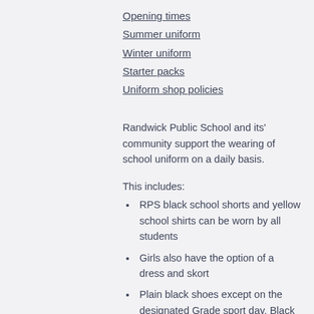Opening times
Summer uniform
Winter uniform
Starter packs
Uniform shop policies
Randwick Public School and its' community support the wearing of school uniform on a daily basis.
This includes:
RPS black school shorts and yellow school shirts can be worn by all students
Girls also have the option of a dress and skort
Plain black shoes except on the designated Grade sport day. Black shoes may be a runner style and therefore suitable for the whole week but should not have any white or colours,